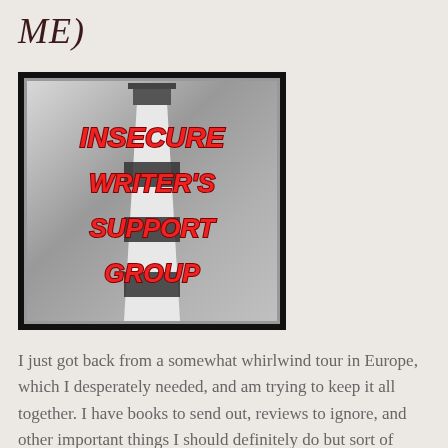ME)
[Figure (illustration): Insecure Writer's Support Group logo: red bold italic text reading 'INSECURE WRITER'S SUPPORT GROUP' overlaid on a black and white lighthouse photograph, with a black border frame]
I just got back from a somewhat whirlwind tour in Europe, which I desperately needed, and am trying to keep it all together. I have books to send out, reviews to ignore, and other important things I should definitely do but sort of forgot, like my IWSG post for this month! (Is it November already? On some level, I